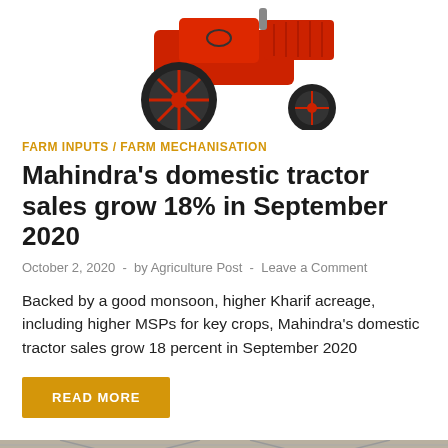[Figure (photo): Top portion of a red Mahindra tractor showing wheels and undercarriage on white background]
FARM INPUTS / FARM MECHANISATION
Mahindra's domestic tractor sales grow 18% in September 2020
October 2, 2020 - by Agriculture Post - Leave a Comment
Backed by a good monsoon, higher Kharif acreage, including higher MSPs for key crops, Mahindra's domestic tractor sales grow 18 percent in September 2020
READ MORE
[Figure (photo): Warehouse interior with stacked burlap grain sacks, industrial ceiling visible in background]